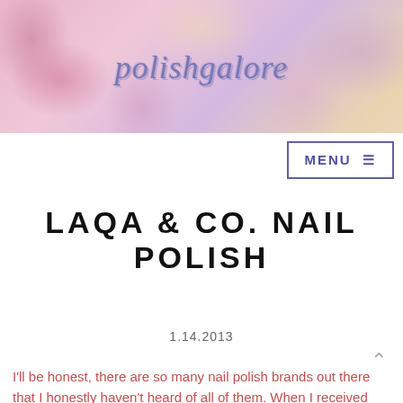[Figure (illustration): Blog header banner with floral watercolor background (pink, purple, yellow flowers) and cursive script blog title 'polishgalore' in purple/lavender color]
MENU ≡
LAQA & CO. NAIL POLISH
1.14.2013
I'll be honest, there are so many nail polish brands out there that I honestly haven't heard of all of them. When I received this email